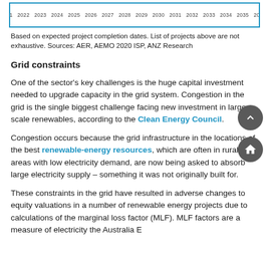[Figure (other): Bottom portion of a timeline/Gantt-style chart showing years 2021 through 2030s along the x-axis. Only the axis labels are visible.]
Based on expected project completion dates. List of projects above are not exhaustive. Sources: AER, AEMO 2020 ISP, ANZ Research
Grid constraints
One of the sector's key challenges is the huge capital investment needed to upgrade capacity in the grid system. Congestion in the grid is the single biggest challenge facing new investment in large scale renewables, according to the Clean Energy Council.
Congestion occurs because the grid infrastructure in the locations of the best renewable-energy resources, which are often in rural areas with low electricity demand, are now being asked to absorb large electricity supply – something it was not originally built for.
These constraints in the grid have resulted in adverse changes to equity valuations in a number of renewable energy projects due to calculations of the marginal loss factor (MLF). MLF factors are a measure of electricity the Australia E...